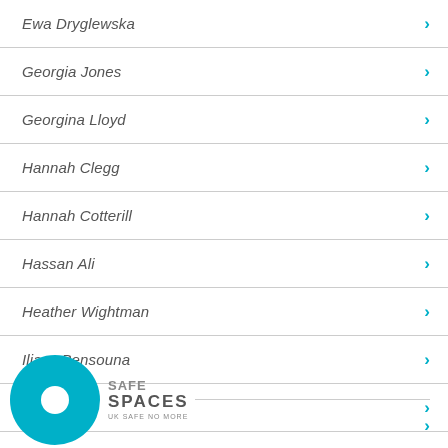Ewa Dryglewska
Georgia Jones
Georgina Lloyd
Hannah Clegg
Hannah Cotterill
Hassan Ali
Heather Wightman
Iliass Bensouna
[Figure (logo): Safe Spaces UK Safe No More logo — teal circle with white dot, text SAFE SPACES UK SAFE NO MORE]